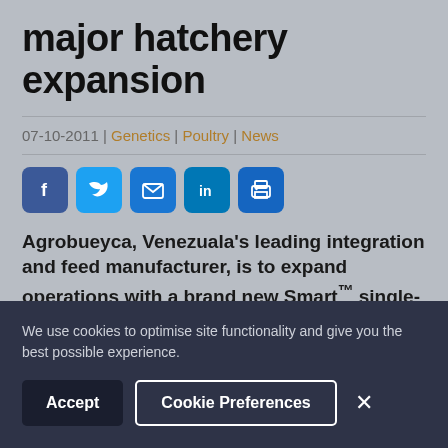major hatchery expansion
07-10-2011 | Genetics | Poultry | News
[Figure (other): Social media share icons: Facebook, Twitter, Email, LinkedIn, Print]
Agrobueyca, Venezuala's leading integration and feed manufacturer, is to expand operations with a brand new Smart™ single-
We use cookies to optimise site functionality and give you the best possible experience.
Accept | Cookie Preferences | ×